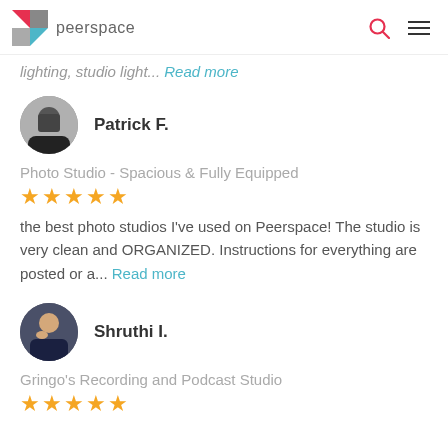peerspace
lighting, studio light... Read more
Patrick F.
Photo Studio - Spacious & Fully Equipped
the best photo studios I've used on Peerspace! The studio is very clean and ORGANIZED. Instructions for everything are posted or a... Read more
Shruthi I.
Gringo's Recording and Podcast Studio